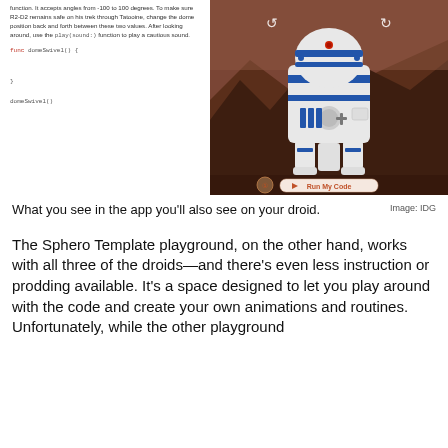function. It accepts angles from -100 to 100 degrees. To make sure R2-D2 remains safe on his trek through Tatooine, change the dome position back and forth between these two values. After looking around, use the play(sound:) function to play a cautious sound.
func domeSwivel() {

}

domeSwivel()
[Figure (illustration): R2-D2 robot illustration on a desert/Tatooine background with a 'Run My Code' button at the bottom]
What you see in the app you'll also see on your droid.
Image: IDG
The Sphero Template playground, on the other hand, works with all three of the droids—and there's even less instruction or prodding available. It's a space designed to let you play around with the code and create your own animations and routines. Unfortunately, while the other playground